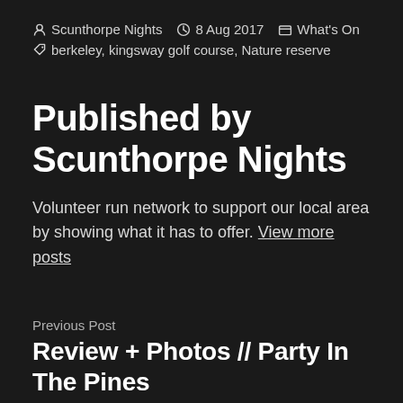Scunthorpe Nights  8 Aug 2017  What's On  berkeley, kingsway golf course, Nature reserve
Published by Scunthorpe Nights
Volunteer run network to support our local area by showing what it has to offer. View more posts
Previous Post
Review + Photos // Party In The Pines